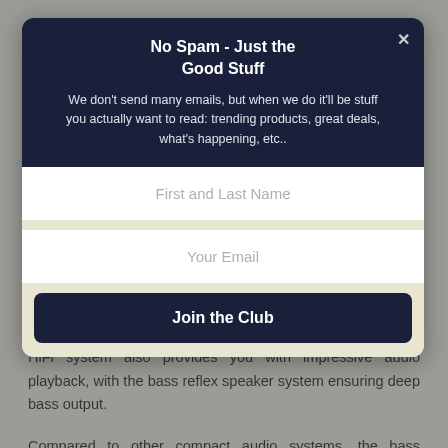No Spam - Just the Good Stuff
We don't send many emails, but when we do it'll be stuff you actually want to read: trending products, great deals, what's happening, etc..
First and Last Name
Your Email
Join the Club
HiFi supports DAB+ Radio playback, with 20 selectable presets included so you can s⚡by Convertful favourite stations to ensure you never miss a broadcast. This powerful HiFi system also provides you with impressive audio playback, with the bass reflex speaker system ensuring deep bass output.
Compared to other compact audio systems, the bass credentials on offer here are very impressive. A responsive subwoofer is